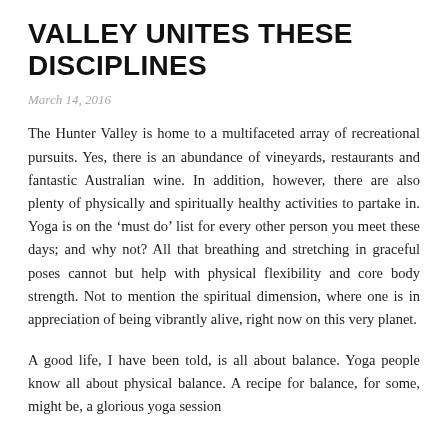VALLEY UNITES THESE DISCIPLINES
March 14, 2016
The Hunter Valley is home to a multifaceted array of recreational pursuits. Yes, there is an abundance of vineyards, restaurants and fantastic Australian wine. In addition, however, there are also plenty of physically and spiritually healthy activities to partake in. Yoga is on the ‘must do’ list for every other person you meet these days; and why not? All that breathing and stretching in graceful poses cannot but help with physical flexibility and core body strength. Not to mention the spiritual dimension, where one is in appreciation of being vibrantly alive, right now on this very planet.
A good life, I have been told, is all about balance. Yoga people know all about physical balance. A recipe for balance, for some, might be, a glorious yoga session